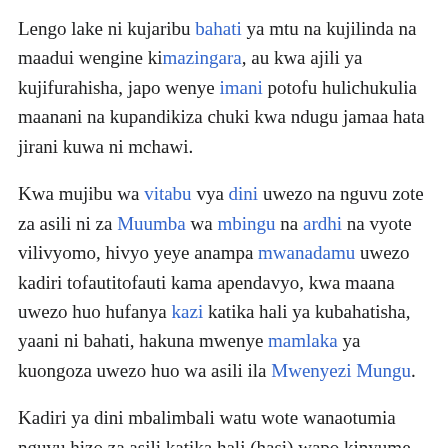Lengo lake ni kujaribu bahati ya mtu na kujilinda na maadui wengine kimazingara, au kwa ajili ya kujifurahisha, japo wenye imani potofu hulichukulia maanani na kupandikiza chuki kwa ndugu jamaa hata jirani kuwa ni mchawi.
Kwa mujibu wa vitabu vya dini uwezo na nguvu zote za asili ni za Muumba wa mbingu na ardhi na vyote vilivyomo, hivyo yeye anampa mwanadamu uwezo kadiri tofautitofauti kama apendavyo, kwa maana uwezo huo hufanya kazi katika hali ya kubahatisha, yaani ni bahati, hakuna mwenye mamlaka ya kuongoza uwezo huo wa asili ila Mwenyezi Mungu.
Kadiri ya dini mbalimbali watu wote wanaotumia nguvu hizo za asili katika hali (hasi) wapo kinyume na Mungu Muumbaji wa mbingu na dunia, hawajui kuwa yeye ndiye mwanzilishi wa nguvu zote za asili ikiwa ni pamoja na